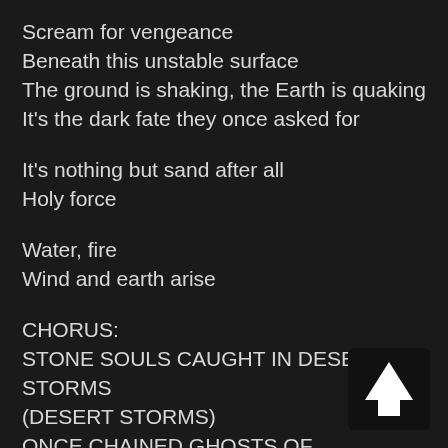Scream for vengeance
Beneath this unstable surface
The ground is shaking, the Earth is quaking
It's the dark fate they once asked for
It's nothing but sand after all
Holy force
Water, fire
Wind and earth arise
CHORUS:
STONE SOULS CAUGHT IN DESERT STORMS
(DESERT STORMS)
ONCE CHAINED GHOSTS OF FORGOTTEN WO[RLDS]
(DUSTY WORLDS)
CHAOS BORN SAND LORDS
[Figure (illustration): Scroll-to-top button: dark square with upward-pointing white arrow icon in bottom-right corner]